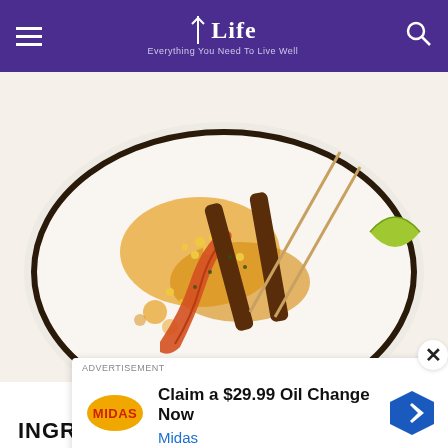Life — Everything You Need To Live Well
[Figure (photo): Grilled Suya Prawns and Beef Suya Skewers on a white plate with lime wedges and yellow corn sauce]
Grilled Suya Prawns and Beef Suya Skewers
INGREDIENTS- SUYA
[Figure (infographic): Advertisement overlay: ADVERTISEMENT label with Midas logo, text 'Claim a $29.99 Oil Change Now', 'Midas', navigation arrow icon, and small play/close icons at bottom left. Close (×) button at top right.]